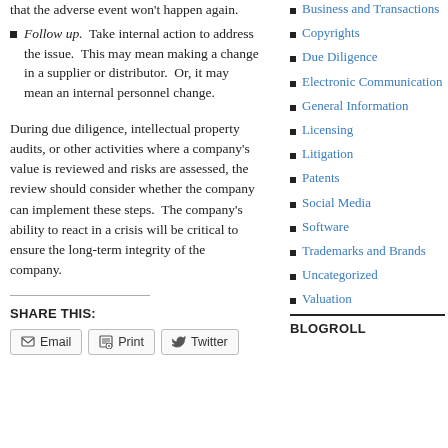that the adverse event won't happen again.
Follow up. Take internal action to address the issue. This may mean making a change in a supplier or distributor. Or, it may mean an internal personnel change.
During due diligence, intellectual property audits, or other activities where a company's value is reviewed and risks are assessed, the review should consider whether the company can implement these steps. The company's ability to react in a crisis will be critical to ensure the long-term integrity of the company.
SHARE THIS:
Business and Transactions
Copyrights
Due Diligence
Electronic Communication
General Information
Licensing
Litigation
Patents
Social Media
Software
Trademarks and Brands
Uncategorized
Valuation
BLOGROLL